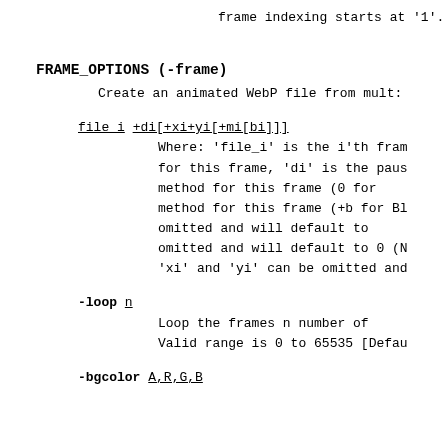frame indexing starts at '1'.
FRAME_OPTIONS (-frame)
Create an animated WebP file from mult:
file i +di[+xi+yi[+mi[bi]]]
Where: 'file_i' is the i'th fram
for this frame, 'di' is the paus
method for this frame (0 for
method for this frame (+b for Bl
omitted and will default to
omitted and will default to 0 (N
'xi' and 'yi' can be omitted and
-loop n
Loop the frames n number of
Valid range is 0 to 65535 [Defau
-bgcolor A,R,G,B